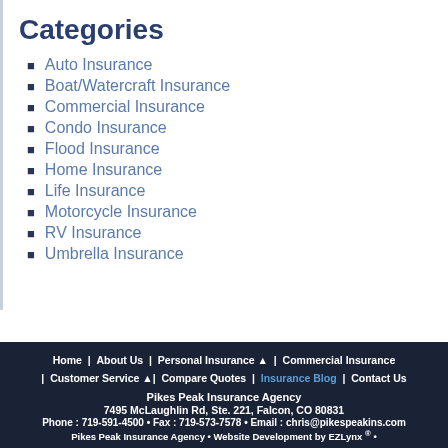Categories
Auto Insurance
Boat/Watercraft Insurance
Commercial Insurance
Condo Insurance
Flood Insurance
Home Insurance
Life Insurance
Motorcycle Insurance
RV Insurance
Umbrella Insurance
Home | About Us | Personal Insurance | Commercial Insurance | Customer Service | Compare Quotes | Insurance Blog | Contact Us
Pikes Peak Insurance Agency
7495 McLaughlin Rd, Ste. 221, Falcon, CO 80831
Phone : 719-591-4500 • Fax : 719-573-7578 • Email : chris@pikespeakins.com
Pikes Peak Insurance Agency • Website Development by EZLynx ® •